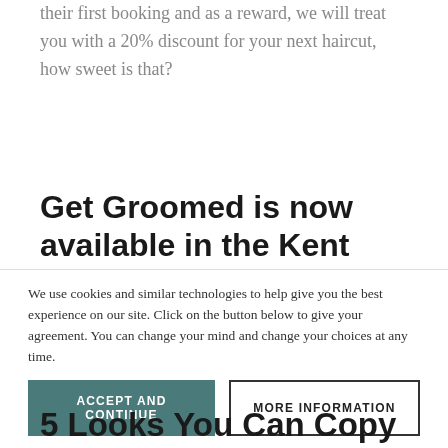their first booking and as a reward, we will treat you with a 20% discount for your next haircut, how sweet is that?
Get Groomed is now available in the Kent area !
/blog/archive/get-groomed-is-now-available-in-the-kent-area/
You can now book a Get Groomed barber in Kent !
5 Looks You Can Copy From Famous
We use cookies and similar technologies to help give you the best experience on our site. Click on the button below to give your agreement. You can change your mind and change your choices at any time.